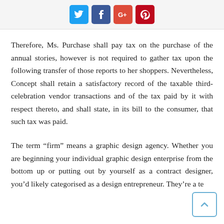[Figure (other): Row of four social media share buttons: Twitter (blue), Facebook (dark blue), Google+ (red), Pinterest (dark red)]
Therefore, Ms. Purchase shall pay tax on the purchase of the annual stories, however is not required to gather tax upon the following transfer of those reports to her shoppers. Nevertheless, Concept shall retain a satisfactory record of the taxable third-celebration vendor transactions and of the tax paid by it with respect thereto, and shall state, in its bill to the consumer, that such tax was paid.
The term “firm” means a graphic design agency. Whether you are beginning your individual graphic design enterprise from the bottom up or putting out by yourself as a contract designer, you’d likely categorised as a design entrepreneur. They’re a te…